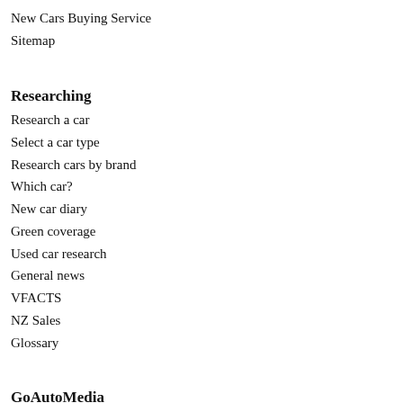New Cars Buying Service
Sitemap
Researching
Research a car
Select a car type
Research cars by brand
Which car?
New car diary
Green coverage
Used car research
General news
VFACTS
NZ Sales
Glossary
GoAutoMedia
GoAutoMedia
GoAutoNews Premium
GoAutoNews
GoAutoMag